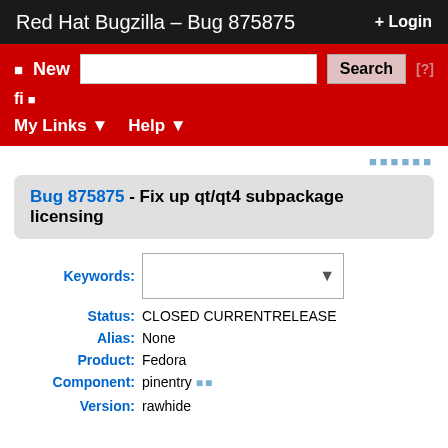Red Hat Bugzilla – Bug 875875   � Login
� New   Search   [?]   fi �   My Links �   Help �
Bug 875875 - Fix up qt/qt4 subpackage licensing
| Field | Value |
| --- | --- |
| Keywords: |  |
| Status: | CLOSED CURRENTRELEASE |
| Alias: | None |
| Product: | Fedora |
| Component: | pinentry � � |
| Version: | rawhide |